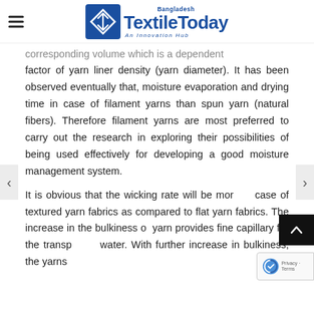TextileToday Bangladesh — An Innovation Hub
corresponding volume which is a dependent factor of yarn liner density (yarn diameter). It has been observed eventually that, moisture evaporation and drying time in case of filament yarns than spun yarn (natural fibers). Therefore filament yarns are most preferred to carry out the research in exploring their possibilities of being used effectively for developing a good moisture management system.
It is obvious that the wicking rate will be more case of textured yarn fabrics as compared to flat yarn fabrics. The increase in the bulkiness of yarn provides fine capillary for the transport of water. With further increase in bulkiness, the yarns